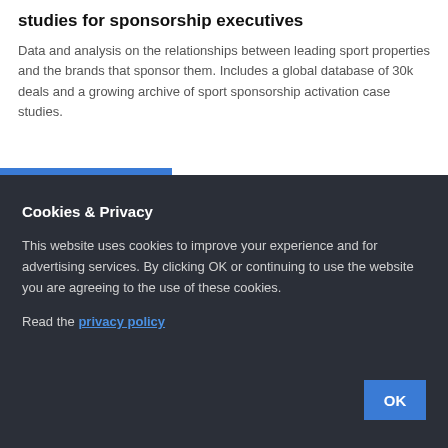studies for sponsorship executives
Data and analysis on the relationships between leading sport properties and the brands that sponsor them. Includes a global database of 30k deals and a growing archive of sport sponsorship activation case studies.
Cookies & Privacy
This website uses cookies to improve your experience and for advertising services. By clicking OK or continuing to use the website you are agreeing to the use of these cookies.
Read the privacy policy